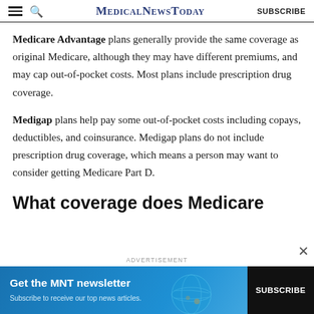MedicalNewsToday | SUBSCRIBE
Medicare Advantage plans generally provide the same coverage as original Medicare, although they may have different premiums, and may cap out-of-pocket costs. Most plans include prescription drug coverage.
Medigap plans help pay some out-of-pocket costs including copays, deductibles, and coinsurance. Medigap plans do not include prescription drug coverage, which means a person may want to consider getting Medicare Part D.
What coverage does Medicare
ADVERTISEMENT
[Figure (infographic): MNT newsletter subscription advertisement banner with teal/blue gradient background, text 'Get the MNT newsletter - Subscribe to receive our top news articles.' with a dark SUBSCRIBE button.]